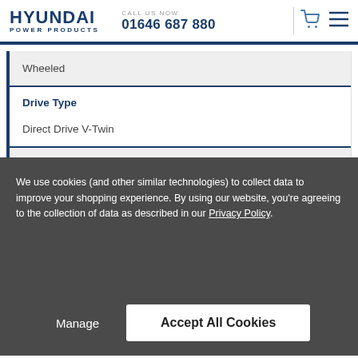HYUNDAI POWER PRODUCTS | CALL US NOW 01646 687 880
Wheeled
Drive Type
Direct Drive V-Twin
Tank Capacity (L)
We use cookies (and other similar technologies) to collect data to improve your shopping experience. By using our website, you're agreeing to the collection of data as described in our Privacy Policy.
Manage | Accept All Cookies